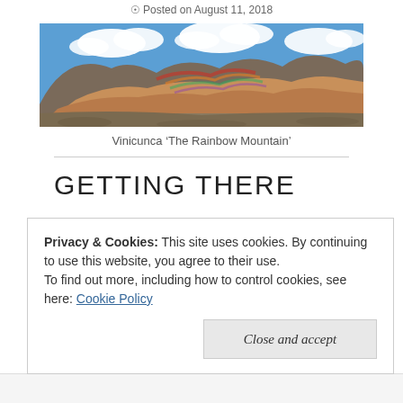Posted on August 11, 2018
[Figure (photo): Panoramic photo of Vinicunca 'The Rainbow Mountain' in Peru, showing colorful striped mountains under a blue sky with white clouds.]
Vinicunca ‘The Rainbow Mountain’
GETTING THERE
We had spent 5 months in Peru including a month in Cusco and were two weeks into the Bolivia leg of our trip when Niamh showed me amazing photos of
Privacy & Cookies: This site uses cookies. By continuing to use this website, you agree to their use.
To find out more, including how to control cookies, see here: Cookie Policy